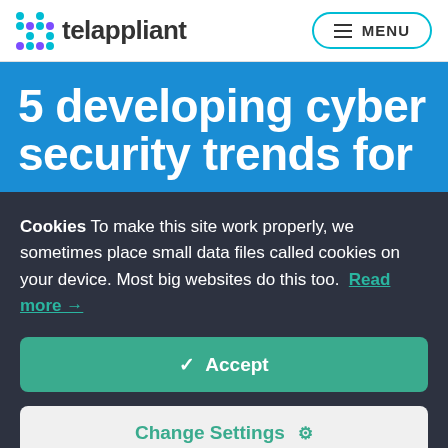telappliant | MENU
5 developing cyber security trends for
Cookies To make this site work properly, we sometimes place small data files called cookies on your device. Most big websites do this too. Read more →
Accept
Change Settings